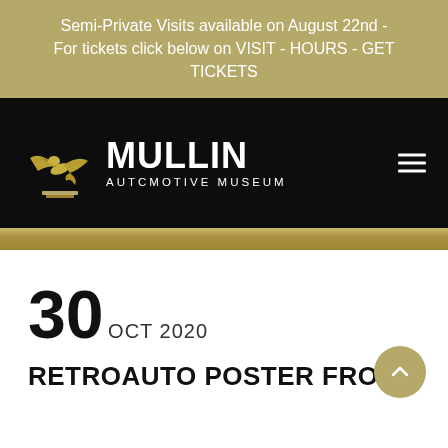Semi-Private Visits available on August 22nd - For tickets click below on VISIT - HOURS - GET TICKETS
[Figure (logo): Mullin Automotive Museum logo with gold bird sculpture and white text on black background]
30
OCT 2020
RETROAUTO POSTER FROM